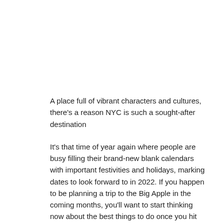A place full of vibrant characters and cultures, there's a reason NYC is such a sought-after destination
It's that time of year again where people are busy filling their brand-new blank calendars with important festivities and holidays, marking dates to look forward to in 2022. If you happen to be planning a trip to the Big Apple in the coming months, you'll want to start thinking now about the best things to do once you hit those sky-scraper-filled city streets. Fortunately, we've compiled a list of some ideal